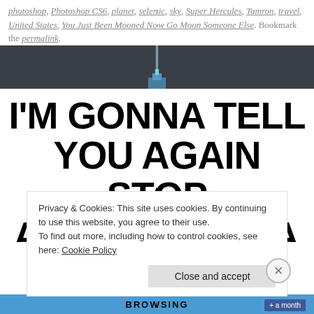photoshop, Photoshop CS6, planet, selenic, sky, Super Hercules, Tamron, travel, United States, You Just Been Mooned Now Go Moon Someone Else. Bookmark the permalink.
[Figure (photo): Dark grey/blue sky background banner with faint vertical light streak in center, partial top of illuminated structure visible at bottom center.]
I'M GONNA TELL YOU AGAIN STOP
Privacy & Cookies: This site uses cookies. By continuing to use this website, you agree to their use.
To find out more, including how to control cookies, see here: Cookie Policy
Close and accept
BROWSING